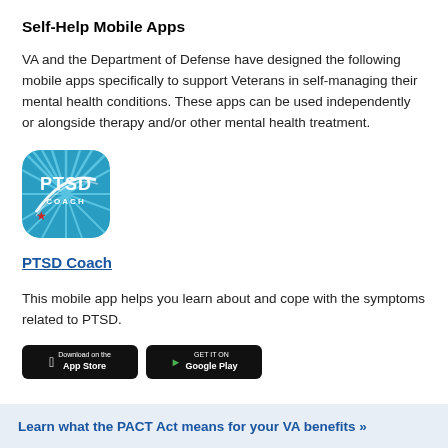Self-Help Mobile Apps
VA and the Department of Defense have designed the following mobile apps specifically to support Veterans in self-managing their mental health conditions. These apps can be used independently or alongside therapy and/or other mental health treatment.
[Figure (logo): PTSD Coach app icon — blue circular rays on teal background with white PTSD COACH text and a red star]
PTSD Coach
This mobile app helps you learn about and cope with the symptoms related to PTSD.
[Figure (screenshot): App store download buttons: Download on the App Store and GET IT ON Google Play]
Learn what the PACT Act means for your VA benefits »